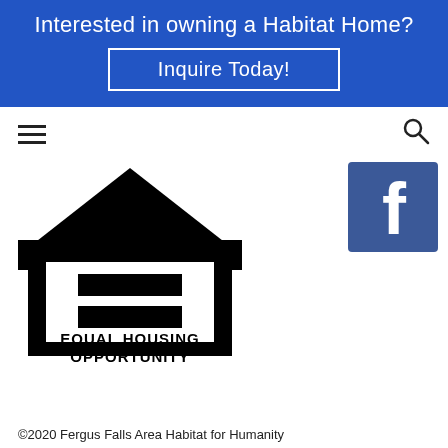Interested in owning a Habitat Home?
Inquire Today!
[Figure (logo): Equal Housing Opportunity logo — black house outline with equals sign, text 'EQUAL HOUSING OPPORTUNITY']
[Figure (logo): Facebook logo — blue square with white lowercase 'f']
©2020 Fergus Falls Area Habitat for Humanity